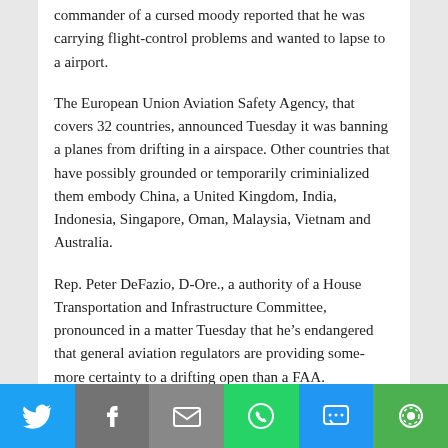commander of a cursed moody reported that he was carrying flight-control problems and wanted to lapse to a airport.
The European Union Aviation Safety Agency, that covers 32 countries, announced Tuesday it was banning a planes from drifting in a airspace. Other countries that have possibly grounded or temporarily criminialized them embody China, a United Kingdom, India, Indonesia, Singapore, Oman, Malaysia, Vietnam and Australia.
Rep. Peter DeFazio, D-Ore., a authority of a House Transportation and Infrastructure Committee, pronounced in a matter Tuesday that he’s endangered that general aviation regulators are providing some-more certainty to a drifting open than a FAA.
[Figure (photo): boeing-737-max.jpg broken image placeholder]
A shot of Boeing’s 737 Max 8 airplanes from a company’s website.